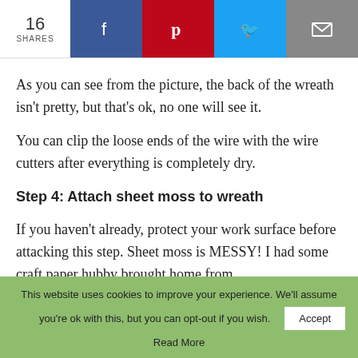16 SHARES
As you can see from the picture, the back of the wreath isn’t pretty, but that’s ok, no one will see it.
You can clip the loose ends of the wire with the wire cutters after everything is completely dry.
Step 4: Attach sheet moss to wreath
If you haven’t already, protect your work surface before attacking this step. Sheet moss is MESSY! I had some craft paper hubby brought home from
This website uses cookies to improve your experience. We’ll assume you’re ok with this, but you can opt-out if you wish.
Accept
Read More